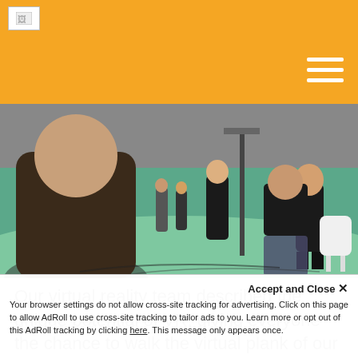[Figure (photo): Yellow/orange navigation header bar with a small logo placeholder in top-left and hamburger menu icon (three white horizontal lines) in top-right]
[Figure (photo): Photography of people in a green-screen film studio. A man is seen from behind in the foreground, people are standing and walking on the green floor with studio lighting equipment visible.]
Our virtual reality team described the unique potential of VR, giving everyone the chance to walk the virtual plank of our mixed reality experience.
Accept and Close ✕
Your browser settings do not allow cross-site tracking for advertising. Click on this page to allow AdRoll to use cross-site tracking to tailor ads to you. Learn more or opt out of this AdRoll tracking by clicking here. This message only appears once.